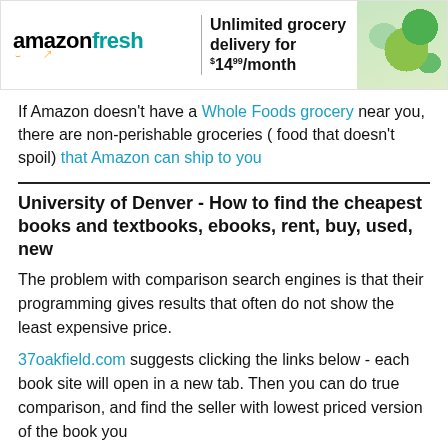[Figure (screenshot): Amazon Fresh advertisement banner showing logo, text 'Unlimited grocery delivery for $14.99/month', and food/produce image]
If Amazon doesn't have a Whole Foods grocery near you, there are non-perishable groceries ( food that doesn't spoil) that Amazon can ship to you
University of Denver - How to find the cheapest books and textbooks, ebooks, rent, buy, used, new
The problem with comparison search engines is that their programming gives results that often do not show the least expensive price.
37oakfield.com suggests clicking the links below - each book site will open in a new tab. Then you can do true comparison, and find the seller with lowest priced version of the book you